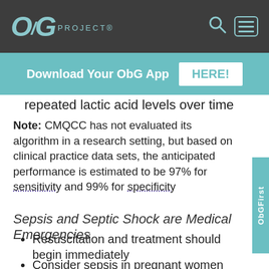ObG PROJECT®
Download Your ObG App  HERE!
repeated lactic acid levels over time
Note: CMQCC has not evaluated its algorithm in a research setting, but based on clinical practice data sets, the anticipated performance is estimated to be 97% for sensitivity and 99% for specificity
Sepsis and Septic Shock are Medical Emergencies
Resuscitation and treatment should begin immediately
Consider sepsis in pregnant women